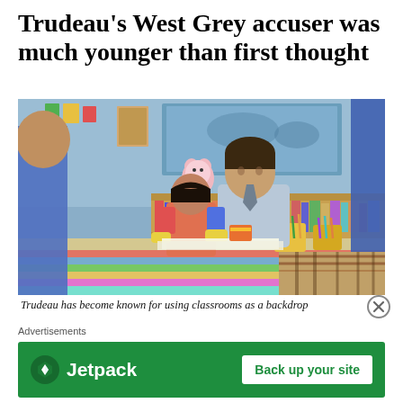Trudeau's West Grey accuser was much younger than first thought
[Figure (photo): A man leaning over a table helping a young girl with an art or craft activity in a colorful classroom setting, surrounded by other children, bookshelves, and school supplies.]
Trudeau has become known for using classrooms as a backdrop
Advertisements
[Figure (screenshot): Jetpack advertisement banner — green background with Jetpack logo on left and 'Back up your site' button on right.]